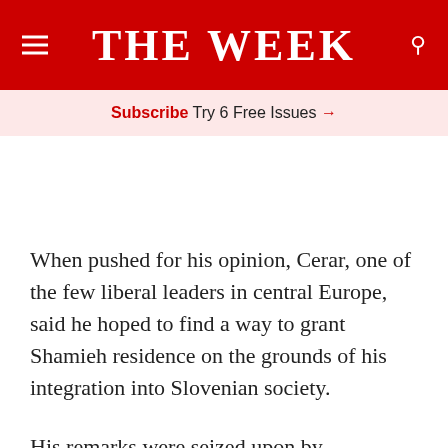THE WEEK
Subscribe Try 6 Free Issues →
When pushed for his opinion, Cerar, one of the few liberal leaders in central Europe, said he hoped to find a way to grant Shamieh residence on the grounds of his integration into Slovenian society.
His remarks were seized upon by rightwingers in the